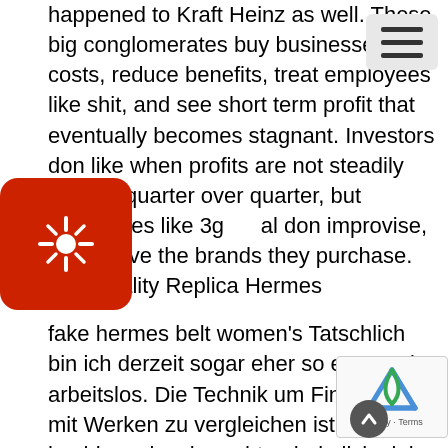happened to Kraft Heinz as well. These big conglomerates buy businesses, cut costs, reduce benefits, treat employees like shit, and see short term profit that eventually becomes stagnant. Investors don like when profits are not steadily increasing quarter over quarter, but companies like 3g capital don improvise, or improve the brands they purchase. high quality Replica Hermes
fake hermes belt women's Tatschlich bin ich derzeit sogar eher so etwas wie arbeitslos. Die Technik um Fingerprints mit Werken zu vergleichen ist hochkomplex, braucht unheimlich viel Rechenleistung und Speicher. Mit jedem Fingerprint in der Datenbank wchst der Bedarf an Rechenleistung fr jedes eingereichte Werk. fake hermes belt women's
best hermes replica handbags To be fair, a lot of time technically worth nothing if we just talking money. A lot of people who go on about the value of time are just